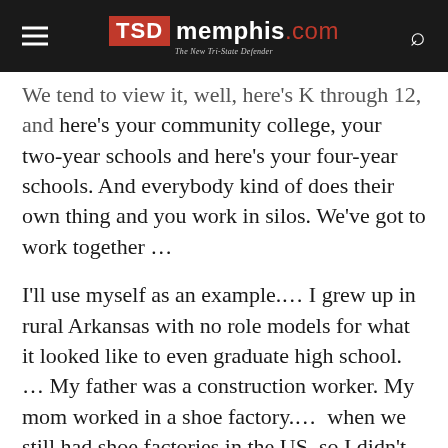TSD memphis.com — The New Tri-State Defender
We tend to view it, well, here's K through 12, and here's your community college, your two-year schools and here's your four-year schools. And everybody kind of does their own thing and you work in silos. We've got to work together …
I'll use myself as an example.… I grew up in rural Arkansas with no role models for what it looked like to even graduate high school. … My father was a construction worker. My mom worked in a shoe factory.…  when we still had shoe factories in the US, so I didn't know what it meant to go to college… I just was lucky that people were put in my path and I got to where I got to higher…